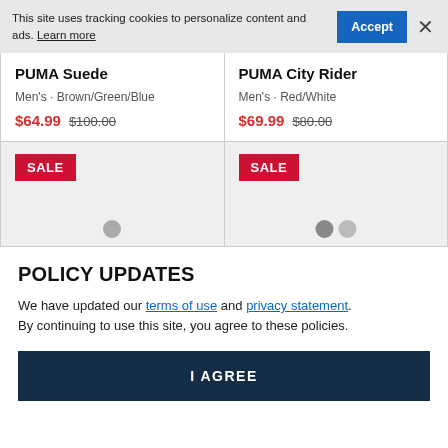This site uses tracking cookies to personalize content and ads. Learn more
PUMA Suede
Men's • Brown/Green/Blue
$64.99  $100.00
PUMA City Rider
Men's • Red/White
$69.99  $80.00
[Figure (screenshot): SALE badge on grey card background, left product (PUMA Suede)]
[Figure (screenshot): SALE badge on grey card background, right product (PUMA City Rider), with two color dots at bottom]
POLICY UPDATES
We have updated our terms of use and privacy statement. By continuing to use this site, you agree to these policies.
I AGREE